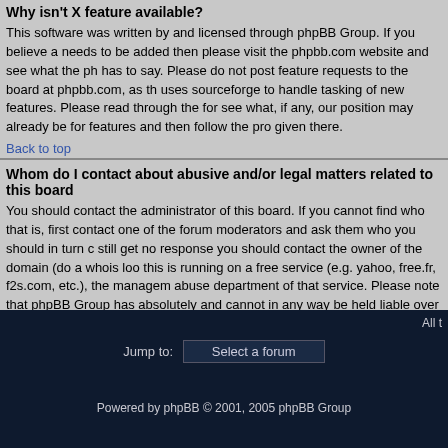Why isn't X feature available?
This software was written by and licensed through phpBB Group. If you believe a needs to be added then please visit the phpbb.com website and see what the ph has to say. Please do not post feature requests to the board at phpbb.com, as th uses sourceforge to handle tasking of new features. Please read through the for see what, if any, our position may already be for features and then follow the pro given there.
Back to top
Whom do I contact about abusive and/or legal matters related to this board?
You should contact the administrator of this board. If you cannot find who that is, first contact one of the forum moderators and ask them who you should in turn c still get no response you should contact the owner of the domain (do a whois loo this is running on a free service (e.g. yahoo, free.fr, f2s.com, etc.), the managem abuse department of that service. Please note that phpBB Group has absolutely and cannot in any way be held liable over how, where or by whom this board is u absolutely pointless contacting phpBB Group in relation to any legal (cease and liable, defamatory comment, etc.) matter not directly related to the phpbb.com w the discrete software of phpBB itself. If you do email phpBB Group about any thi use of this software then you should expect a terse response or no response at a
Back to top
Powered by phpBB © 2001, 2005 phpBB Group